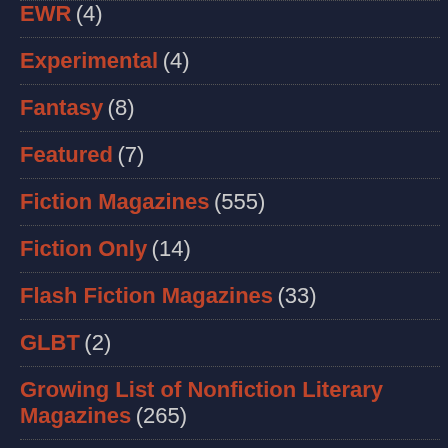EWR (4)
Experimental (4)
Fantasy (8)
Featured (7)
Fiction Magazines (555)
Fiction Only (14)
Flash Fiction Magazines (33)
GLBT (2)
Growing List of Nonfiction Literary Magazines (265)
Horror Magazines (19)